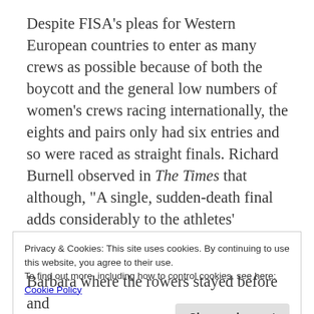Despite FISA's pleas for Western European countries to enter as many crews as possible because of both the boycott and the general low numbers of women's crews racing internationally, the eights and pairs only had six entries and so were raced as straight finals. Richard Burnell observed in The Times that although, "A single, sudden-death final adds considerably to the athletes' psychological strain... for the British eight, full of experience, known to have a remarkable turn of speed, but short on sheer physical strength, this could be good news."
Privacy & Cookies: This site uses cookies. By continuing to use this website, you agree to their use.
To find out more, including how to control cookies, see here: Cookie Policy
Barbara where the rowers stayed before and